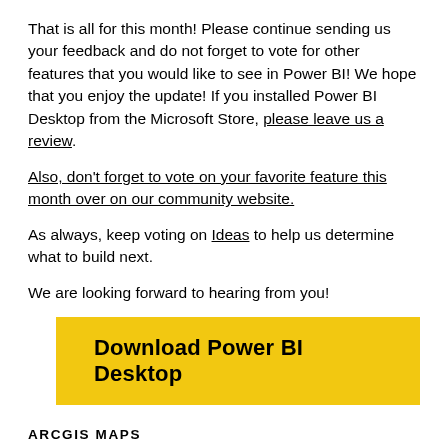That is all for this month! Please continue sending us your feedback and do not forget to vote for other features that you would like to see in Power BI! We hope that you enjoy the update! If you installed Power BI Desktop from the Microsoft Store, please leave us a review.
Also, don't forget to vote on your favorite feature this month over on our community website.
As always, keep voting on Ideas to help us determine what to build next.
We are looking forward to hearing from you!
[Figure (other): Yellow button labeled 'Download Power BI Desktop']
ARCGIS MAPS
CANVAS ZOOM